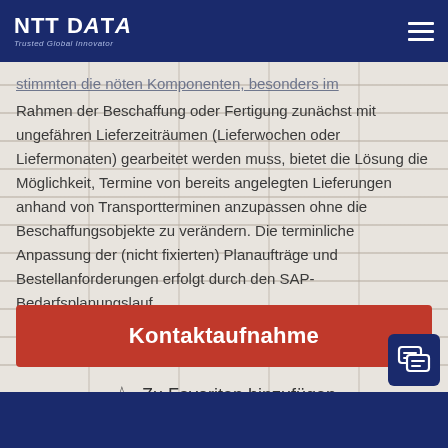NTT DATA – Trusted Global Innovator
stimmten die nöten Komponenten, besonders im Rahmen der Beschaffung oder Fertigung zunächst mit ungefähren Lieferzeiträumen (Lieferwochen oder Liefermonaten) gearbeitet werden muss, bietet die Lösung die Möglichkeit, Termine von bereits angelegten Lieferungen anhand von Transportterminen anzupassen ohne die Beschaffungsobjekte zu verändern. Die terminliche Anpassung der (nicht fixierten) Planaufträge und Bestellanforderungen erfolgt durch den SAP-Bedarfsplanungslauf.
Kontaktaufnahme
Zu Favoriten hinzufügen